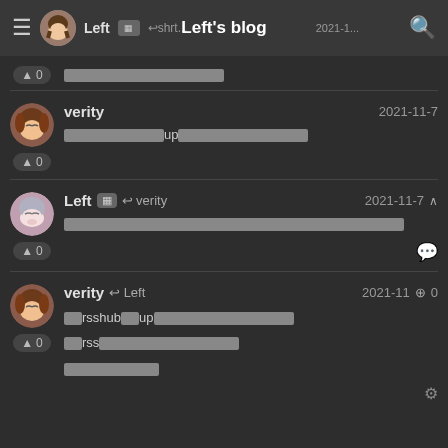Left's blog
▲0 [redacted text]
verity  2021-11-7 [redacted]up[redacted]
Left [badge] ↩verity  2021-11-7 [redacted]
verity ↩ Left  2021-11-[?]0  [redacted]rsshub[redacted]up[redacted]  [redacted]rss[redacted]  [redacted]